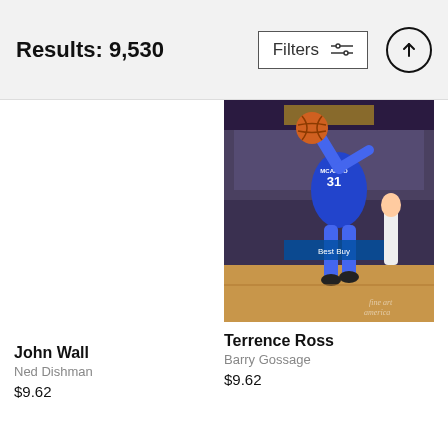Results: 9,530
Filters
[Figure (photo): Basketball player wearing Orlando Magic #31 jersey jumping in the air during an NBA game, crowd in background. Watermark 'fine art america' visible.]
John Wall
Ned Dishman
$9.62
Terrence Ross
Barry Gossage
$9.62